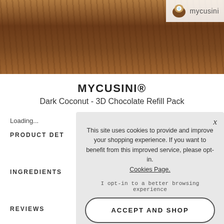[Figure (photo): Product photo of dark chocolate refill sticks for MYCUSINI 3D printer, showing brown/dark chocolate cylinders with a glossy texture. A coconut icon logo and mycusini brand logo appear in the top right corner.]
MYCUSINI®
Dark Coconut - 3D Chocolate Refill Pack
Loading...
PRODUCT DET
INGREDIENTS
This site uses cookies to provide and improve your shopping experience. If you want to benefit from this improved service, please opt-in. Cookies Page. I opt-in to a better browsing experience
ACCEPT AND SHOP
REVIEWS